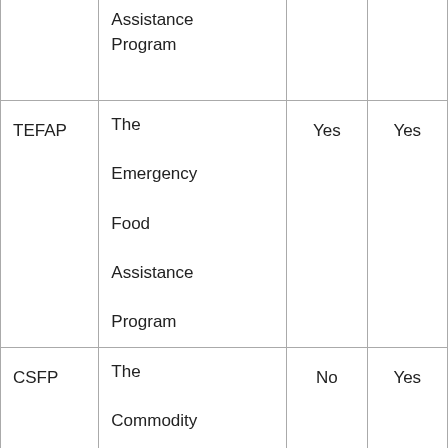|  | Assistance Program |  |  |
| TEFAP | The Emergency Food Assistance Program | Yes | Yes |
| CSFP | The Commodity Supplemental Food Program | No | Yes |
| CACFP | The Child and | Yes | Yes |